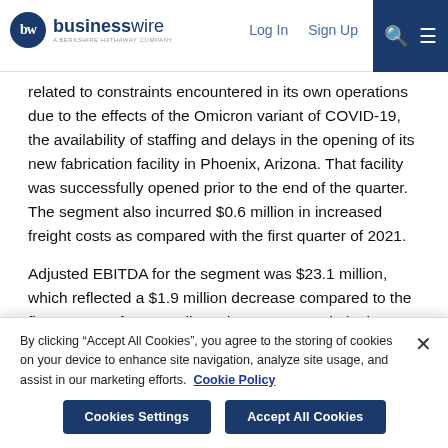businesswire — A BERKSHIRE HATHAWAY COMPANY | Log In | Sign Up
related to constraints encountered in its own operations due to the effects of the Omicron variant of COVID-19, the availability of staffing and delays in the opening of its new fabrication facility in Phoenix, Arizona. That facility was successfully opened prior to the end of the quarter. The segment also incurred $0.6 million in increased freight costs as compared with the first quarter of 2021.
Adjusted EBITDA for the segment was $23.1 million, which reflected a $1.9 million decrease compared to the first quarter of 2021. Adjusted EBITDA margin in the segment totaled 10.5 percent compared to 12.7 percent during the first quarter of 2021.
By clicking “Accept All Cookies”, you agree to the storing of cookies on your device to enhance site navigation, analyze site usage, and assist in our marketing efforts. Cookie Policy
Cookies Settings | Accept All Cookies